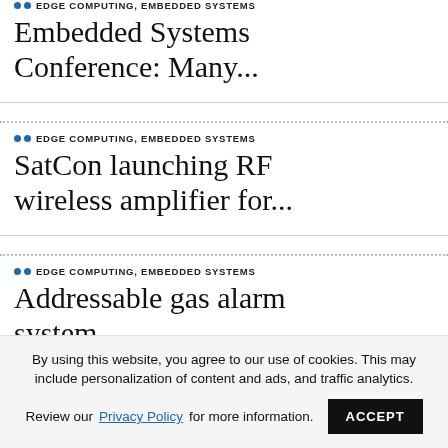•• EDGE COMPUTING, EMBEDDED SYSTEMS
Embedded Systems Conference: Many...
•• EDGE COMPUTING, EMBEDDED SYSTEMS
SatCon launching RF wireless amplifier for...
•• EDGE COMPUTING, EMBEDDED SYSTEMS
Addressable gas alarm system
By using this website, you agree to our use of cookies. This may include personalization of content and ads, and traffic analytics. Review our Privacy Policy for more information.